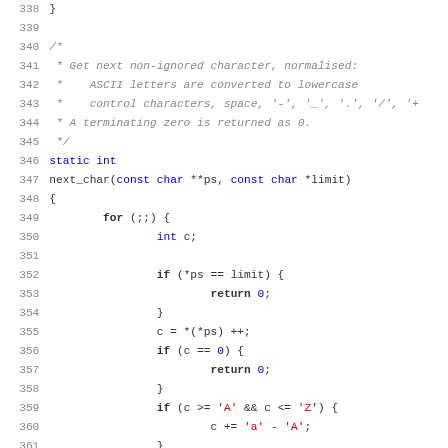[Figure (screenshot): Source code screenshot showing C function 'next_char' with syntax highlighting. Lines 338-370 visible. Comment block explains function purpose, followed by static int function definition with for loop, conditional checks, and return statements.]